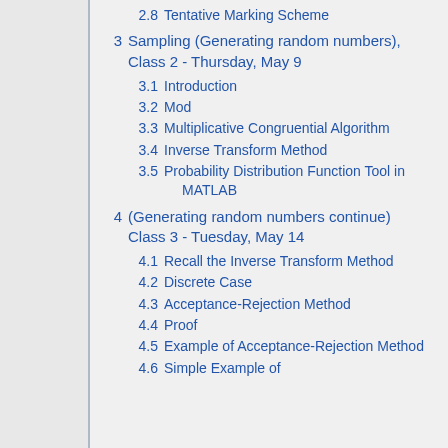2.8  Tentative Marking Scheme
3  Sampling (Generating random numbers), Class 2 - Thursday, May 9
3.1  Introduction
3.2  Mod
3.3  Multiplicative Congruential Algorithm
3.4  Inverse Transform Method
3.5  Probability Distribution Function Tool in MATLAB
4  (Generating random numbers continue) Class 3 - Tuesday, May 14
4.1  Recall the Inverse Transform Method
4.2  Discrete Case
4.3  Acceptance-Rejection Method
4.4  Proof
4.5  Example of Acceptance-Rejection Method
4.6  Simple Example of